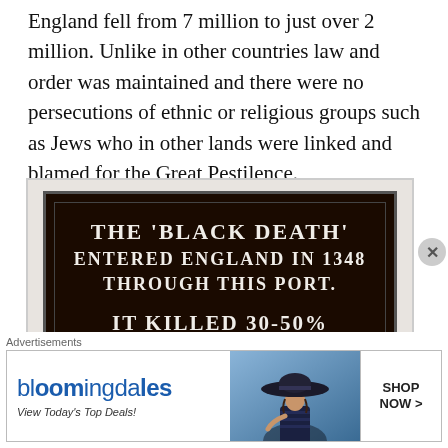England fell from 7 million to just over 2 million. Unlike in other countries law and order was maintained and there were no persecutions of ethnic or religious groups such as Jews who in other lands were linked and blamed for the Great Pestilence.
[Figure (photo): A dark brown historical plaque reading: 'THE BLACK DEATH ENTERED ENGLAND IN 1348 THROUGH THIS PORT. IT KILLED 30-50% OF THE COUNTRY'S TOTAL POPULATION']
Advertisements
[Figure (other): Bloomingdale's advertisement banner: 'bloomingdales / View Today's Top Deals!' with image of woman in large hat and 'SHOP NOW >' button]